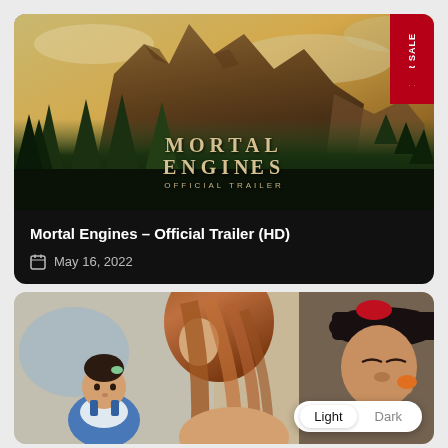[Figure (screenshot): Movie thumbnail for Mortal Engines Official Trailer showing a fantasy mountain cityscape with pine trees in the foreground, text overlay reading MORTAL ENGINES OFFICIAL TRAILER, and a red FOR SALE banner in the top right corner]
Mortal Engines – Official Trailer (HD)
May 16, 2022
[Figure (photo): Thumbnail showing a baby/toddler in blue overalls on the left, a woman with long brown hair in the center-left, and a person in a black cap on the right. A Light/Dark toggle button is visible in the bottom-right corner.]